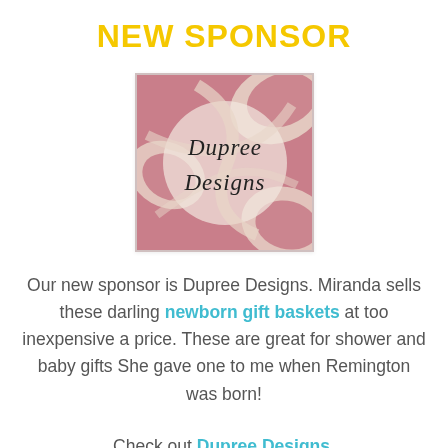NEW SPONSOR
[Figure (logo): Dupree Designs logo — pink/mauve background with ornate white flourish swirl design and handwritten-style text 'Dupree Designs' in black]
Our new sponsor is Dupree Designs. Miranda sells these darling newborn gift baskets at too inexpensive a price. These are great for shower and baby gifts She gave one to me when Remington was born!
Check out Dupree Designs.